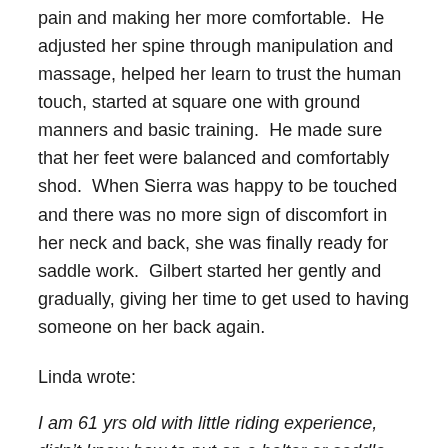pain and making her more comfortable.  He adjusted her spine through manipulation and massage, helped her learn to trust the human touch, started at square one with ground manners and basic training.  He made sure that her feet were balanced and comfortably shod.  When Sierra was happy to be touched and there was no more sign of discomfort in her neck and back, she was finally ready for saddle work.  Gilbert started her gently and gradually, giving her time to get used to having someone on her back again.
Linda wrote:
I am 61 yrs old with little riding experience, didn’t know how to put on a halter or saddle, and knew nothing about the background of my horse “Sierra”, who shyed and spooked at almost everything.  As green as we both were,